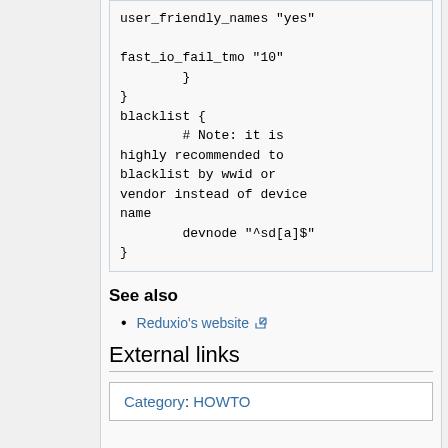user_friendly_names "yes"

fast_io_fail_tmo "10"
        }
}
blacklist {
        # Note: it is
highly recommended to
blacklist by wwid or
vendor instead of device
name
        devnode "^sd[a]$"
}
See also
Reduxio's website
External links
Category: HOWTO